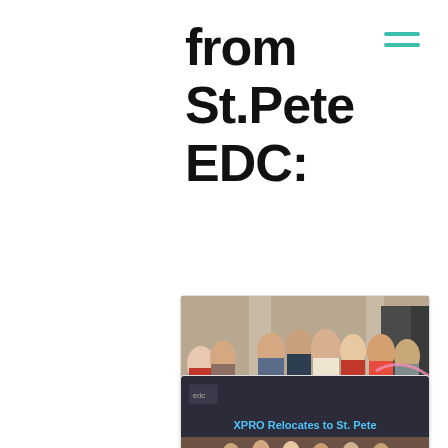from St.Pete EDC:
[Figure (photo): Group of people at a ribbon cutting event in an indoor venue with large columns]
Retail Media Tech Company Citrus...
AUGUST 9, 2022
[Figure (photo): XPRO Relocates to St. Pete - news card with dark background banner text and photo of group]